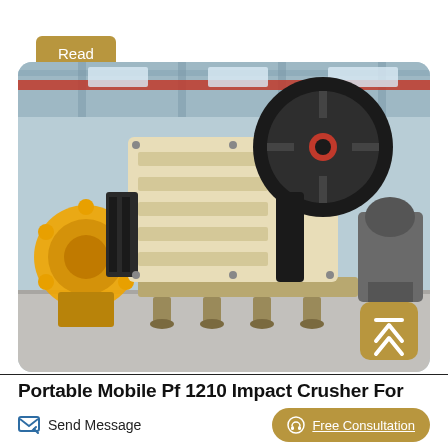Read More
[Figure (photo): Industrial jaw/impact crusher machine (cream/beige colored) in a factory warehouse setting, with a large black flywheel visible at top right, and other yellow mining equipment in background]
Portable Mobile Pf 1210 Impact Crusher For
Send Message
Free Consultation